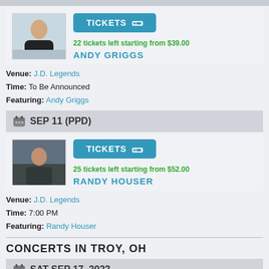22 tickets left starting from $39.00
ANDY GRIGGS
Venue: J.D. Legends
Time: To Be Announced
Featuring: Andy Griggs
SEP 11 (PPD)
[Figure (photo): Photo of Randy Houser]
25 tickets left starting from $52.00
RANDY HOUSER
Venue: J.D. Legends
Time: 7:00 PM
Featuring: Randy Houser
CONCERTS IN TROY, OH
SAT SEP 17, 2022
[Figure (photo): Photo of concert artist]